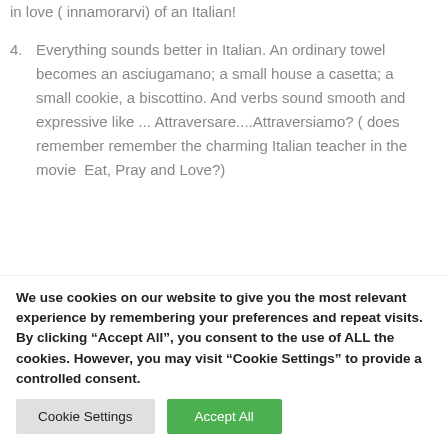4. Everything sounds better in Italian. An ordinary towel becomes an asciugamano; a small house a casetta; a small cookie, a biscottino. And verbs sound smooth and expressive like ... Attraversare....Attraversiamo? ( does remember remember the charming Italian teacher in the movie Eat, Pray and Love?)
5. You are allowed to use your hands—actually
We use cookies on our website to give you the most relevant experience by remembering your preferences and repeat visits. By clicking "Accept All", you consent to the use of ALL the cookies. However, you may visit "Cookie Settings" to provide a controlled consent.